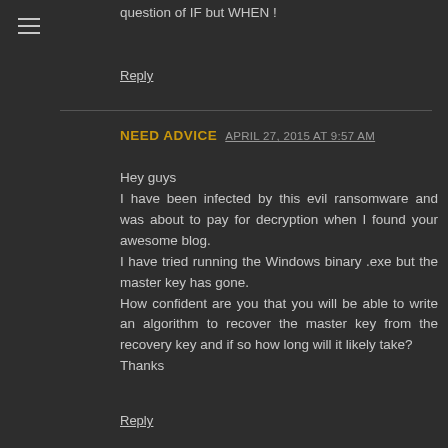question of IF but WHEN !
Reply
NEED ADVICE  APRIL 27, 2015 AT 9:57 AM
Hey guys
I have been infected by this evil ransomware and was about to pay for decryption when I found your awesome blog.
I have tried running the Windows binary .exe but the master key has gone.
How confident are you that you will be able to write an algorithm to recover the master key from the recovery key and if so how long will it likely take?
Thanks
Reply